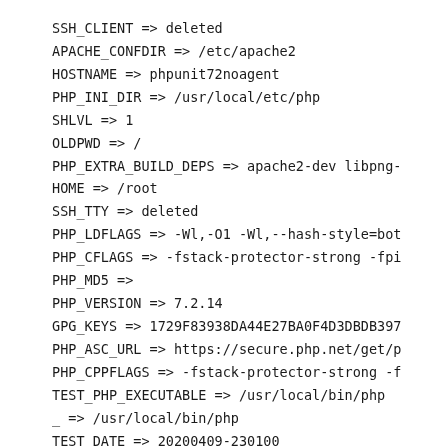SSH_CLIENT => deleted
APACHE_CONFDIR => /etc/apache2
HOSTNAME => phpunit72noagent
PHP_INI_DIR => /usr/local/etc/php
SHLVL => 1
OLDPWD => /
PHP_EXTRA_BUILD_DEPS => apache2-dev libpng-
HOME => /root
SSH_TTY => deleted
PHP_LDFLAGS => -Wl,-O1 -Wl,--hash-style=bot
PHP_CFLAGS => -fstack-protector-strong -fpi
PHP_MD5 =>
PHP_VERSION => 7.2.14
GPG_KEYS => 1729F83938DA44E27BA0F4D3DBDB397
PHP_ASC_URL => https://secure.php.net/get/p
PHP_CPPFLAGS => -fstack-protector-strong -f
TEST_PHP_EXECUTABLE => /usr/local/bin/php
_ => /usr/local/bin/php
TEST_DATE => 20200409-230100